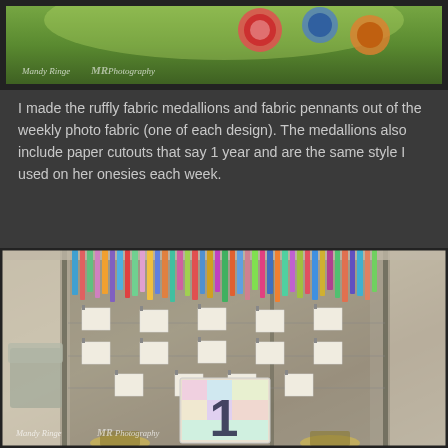[Figure (photo): Top portion of a photo showing colorful fabric medallions and pennants outdoors with green background, watermark reading 'Mandy Ringe Photography']
I made the ruffly fabric medallions and fabric pennants out of the weekly photo fabric (one of each design). The medallions also include paper cutouts that say 1 year and are the same style I used on her onesies each week.
[Figure (photo): Birthday party decoration display inside a tent showing colorful fabric banner strips at top, baby photos hung on lines arranged in a number 1 shape, and a large decorative number 1 prop at center bottom. Watermark reads 'Mandy Ringe Photography']